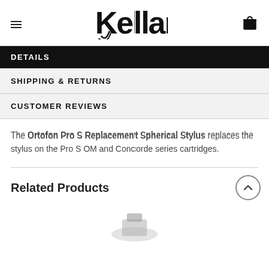Kellards
DETAILS
SHIPPING & RETURNS
CUSTOMER REVIEWS
The Ortofon Pro S Replacement Spherical Stylus replaces the stylus on the Pro S OM and Concorde series cartridges.
Related Products